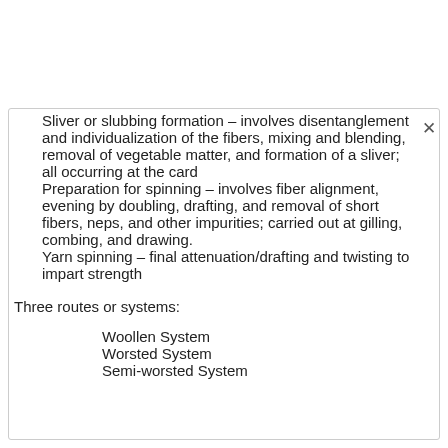Sliver or slubbing formation – involves disentanglement and individualization of the fibers, mixing and blending, removal of vegetable matter, and formation of a sliver; all occurring at the card
Preparation for spinning – involves fiber alignment, evening by doubling, drafting, and removal of short fibers, neps, and other impurities; carried out at gilling, combing, and drawing.
Yarn spinning – final attenuation/drafting and twisting to impart strength
Three routes or systems:
Woollen System
Worsted System
Semi-worsted System